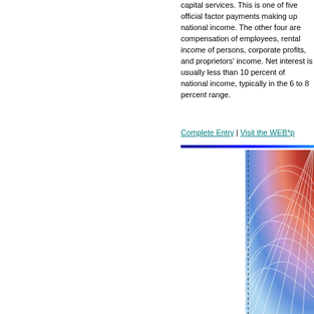capital services. This is one of five official factor payments making up national income. The other four are compensation of employees, rental income of persons, corporate profits, and proprietors' income. Net interest is usually less than 10 percent of national income, typically in the 6 to 8 percent range.
Complete Entry | Visit the WEB*p...
[Figure (other): Partial view of a colorful radial/fan chart with a grid pattern, showing a spectrum from red/orange at the top to blue/teal at the bottom, partially cropped at the left and right edges. A dashed vertical line appears on the left side of the chart.]